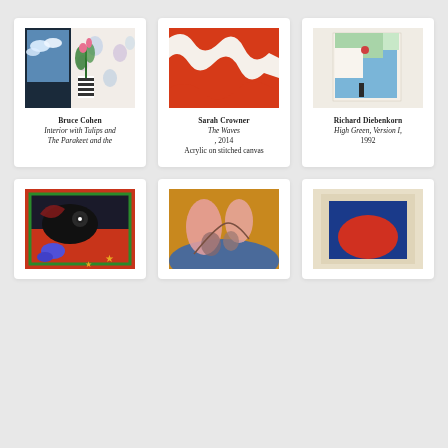[Figure (photo): Artwork card: Bruce Cohen painting - Interior with Tulips and The Parakeet and the, showing window with clouds, pink flowers in striped vase, floral patterned wallpaper]
Bruce Cohen
Interior with Tulips and
The Parakeet and the
[Figure (photo): Artwork card: Sarah Crowner - The Waves, 2014, Acrylic on stitched canvas, abstract red/orange wave shapes on cream background]
Sarah Crowner
The Waves, 2014
Acrylic on stitched canvas
[Figure (photo): Artwork card: Richard Diebenkorn - High Green, Version I, 1992, abstract geometric shapes in blue, green, white]
Richard Diebenkorn
High Green, Version I,
1992
[Figure (photo): Bottom row left: Colorful abstract painting with bird/animal shapes, red/blue/green colors on dark background]
[Figure (photo): Bottom row center: Abstract painting with pink organic shapes on golden/mustard background, landscape-like]
[Figure (photo): Bottom row right: Framed artwork with large red oval/circle on deep blue background, cream frame]